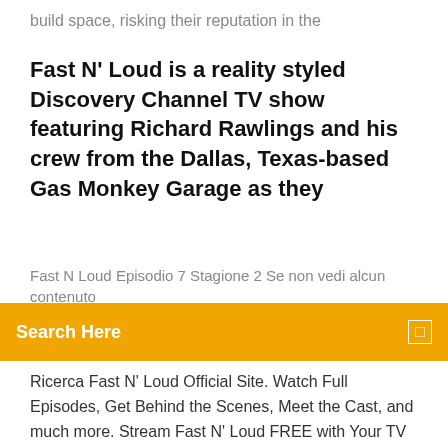build space, risking their reputation in the
Fast N' Loud is a reality styled Discovery Channel TV show featuring Richard Rawlings and his crew from the Dallas, Texas-based Gas Monkey Garage as they
Fast N Loud Episodio 7 Stagione 2 Se non vedi alcun contenuto
Search Here
Ricerca Fast N' Loud Official Site. Watch Full Episodes, Get Behind the Scenes, Meet the Cast, and much more. Stream Fast N' Loud FREE with Your TV Subscription! Buckle your seatbelts motor fans. The all-new season of Fast N' Loud will take viewers on a wild ride as Richard Rawlings and his team at Gas Monkey Garage push their limits further than ever before. This season, Richard is putting everything on the line in hopes of taking Gas Monkey Garage to new heights and a new level of success in the hotrod world. Infatti si tratta di un esemplare riduco da un incidente, che è poi stato acquistato da Gas